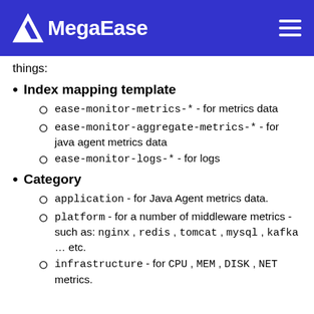MegaEase
things:
Index mapping template
ease-monitor-metrics-* - for metrics data
ease-monitor-aggregate-metrics-* - for java agent metrics data
ease-monitor-logs-* - for logs
Category
application - for Java Agent metrics data.
platform - for a number of middleware metrics - such as: nginx , redis , tomcat , mysql , kafka … etc.
infrastructure - for CPU , MEM , DISK , NET metrics.